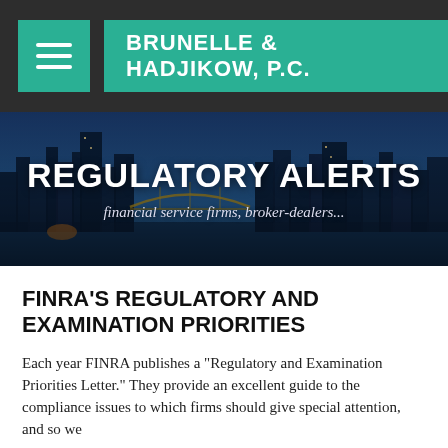BRUNELLE & HADJIKOW, P.C.
[Figure (photo): City skyline at night with blue sky, banner for Regulatory Alerts section]
REGULATORY ALERTS
financial service firms, broker-dealers...
FINRA'S REGULATORY AND EXAMINATION PRIORITIES
Each year FINRA publishes a "Regulatory and Examination Priorities Letter." They provide an excellent guide to the compliance issues to which firms should give special attention, and so we